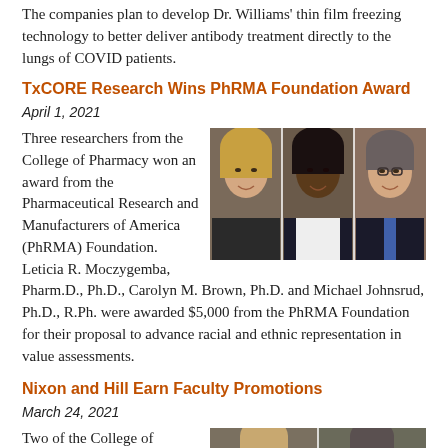The companies plan to develop Dr. Williams' thin film freezing technology to better deliver antibody treatment directly to the lungs of COVID patients.
TxCORE Research Wins PhRMA Foundation Award
April 1, 2021
Three researchers from the College of Pharmacy won an award from the Pharmaceutical Research and Manufacturers of America (PhRMA) Foundation. Leticia R. Moczygemba, Pharm.D., Ph.D., Carolyn M. Brown, Ph.D. and Michael Johnsrud, Ph.D., R.Ph. were awarded $5,000 from the PhRMA Foundation for their proposal to advance racial and ethnic representation in value assessments.
[Figure (photo): Three researchers from the College of Pharmacy: two women and one man, posed together in a group photo.]
Nixon and Hill Earn Faculty Promotions
March 24, 2021
Two of the College of
[Figure (photo): Two faculty members, a woman and a man, partial photo at bottom of page.]